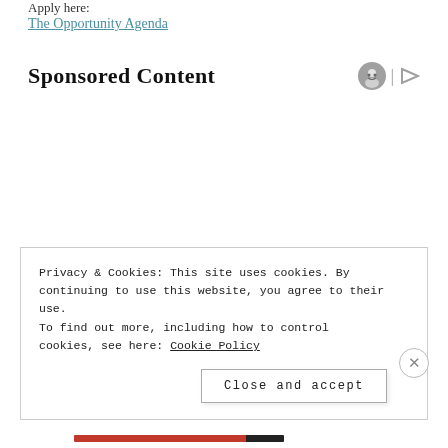Apply here:
The Opportunity Agenda
Sponsored Content
Privacy & Cookies: This site uses cookies. By continuing to use this website, you agree to their use.
To find out more, including how to control cookies, see here: Cookie Policy
Close and accept